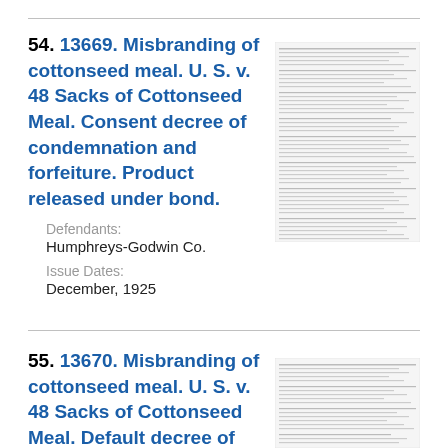54. 13669. Misbranding of cottonseed meal. U. S. v. 48 Sacks of Cottonseed Meal. Consent decree of condemnation and forfeiture. Product released under bond.
Defendants: Humphreys-Godwin Co.
Issue Dates: December, 1925
[Figure (other): Thumbnail image of a legal document page with dense small text]
55. 13670. Misbranding of cottonseed meal. U. S. v. 48 Sacks of Cottonseed Meal. Default decree of condemnation, forfeiture, and sale.
Defendants:
[Figure (other): Thumbnail image of a legal document page with dense small text]